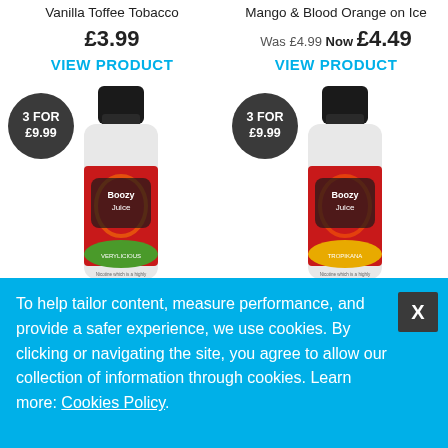Vanilla Toffee Tobacco
Mango & Blood Orange on Ice
£3.99
Was £4.99 Now £4.49
VIEW PRODUCT
VIEW PRODUCT
3 FOR £9.99
[Figure (photo): Doozy Vape Co bottle product photo left - colorful label with red and green design, black cap]
3 FOR £9.99
[Figure (photo): Doozy Vape Co bottle product photo right - colorful label with red and yellow/orange design, black cap]
Boozy Vape Co
Boozy Vape Co
To help tailor content, measure performance, and provide a safer experience, we use cookies. By clicking or navigating the site, you agree to allow our collection of information through cookies. Learn more: Cookies Policy.